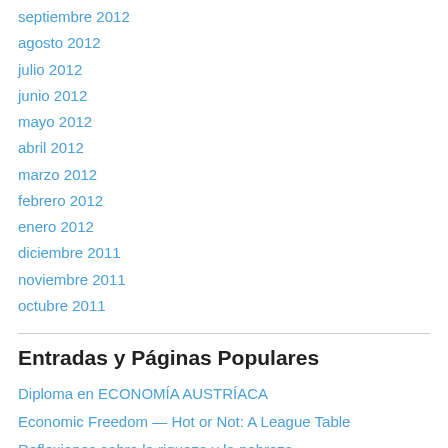septiembre 2012
agosto 2012
julio 2012
junio 2012
mayo 2012
abril 2012
marzo 2012
febrero 2012
enero 2012
diciembre 2011
noviembre 2011
octubre 2011
Entradas y Páginas Populares
Diploma en ECONOMÍA AUSTRÍACA
Economic Freedom — Hot or Not: A League Table
Reflexiones sobre la riqueza y la pobreza
HESPERIDINA Cuando en nuestro pais se hizo marketing antes que